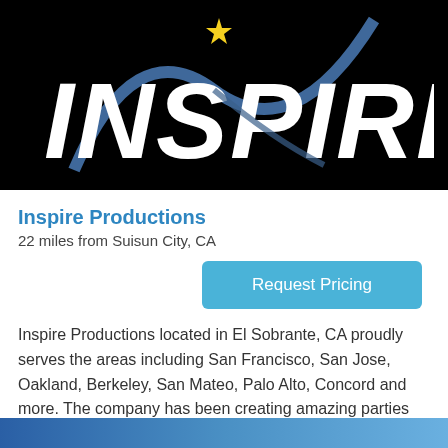[Figure (logo): Inspire Productions logo — white bold text 'INSPIRE' on black background with a blue swoosh/arc and a yellow 4-pointed star above the I]
Inspire Productions
22 miles from Suisun City, CA
Request Pricing
Inspire Productions located in El Sobrante, CA proudly serves the areas including San Francisco, San Jose, Oakland, Berkeley, San Mateo, Palo Alto, Concord and more. The company has been creating amazing parties and events for over 12 years, on